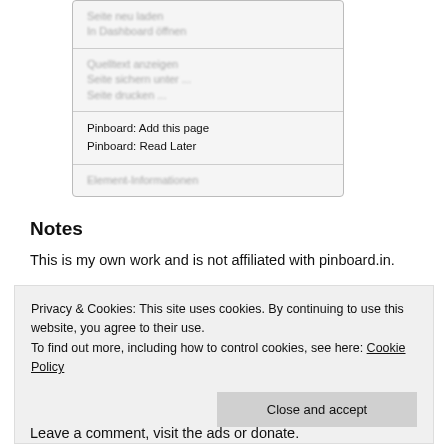[Figure (screenshot): Browser context menu screenshot showing blurred German menu items (Seite neu laden, In Dashboard öffnen, Quelltext anzeigen, Seite sichern unter ..., Seite drucken ...) and clear items (Pinboard: Add this page, Pinboard: Read Later) and a blurred item (Element-Informationen)]
Notes
This is my own work and is not affiliated with pinboard.in.
Privacy & Cookies: This site uses cookies. By continuing to use this website, you agree to their use.
To find out more, including how to control cookies, see here: Cookie Policy
Close and accept
Leave a comment, visit the ads or donate.